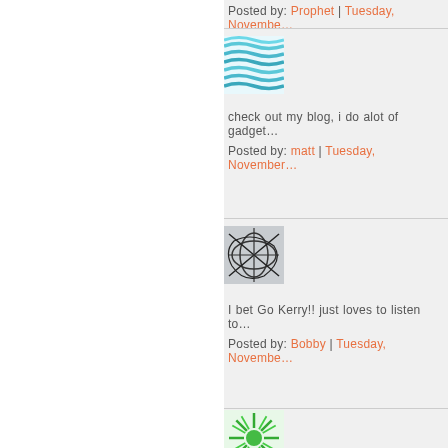Posted by: Prophet | Tuesday, Novembe...
[Figure (illustration): Avatar with wavy blue horizontal lines pattern]
check out my blog, i do alot of gadget...
Posted by: matt | Tuesday, November...
[Figure (illustration): Avatar with abstract intersecting curved lines on grey background]
I bet Go Kerry!! just loves to listen to...
Posted by: Bobby | Tuesday, Novembe...
[Figure (illustration): Avatar with green radial sunburst pattern]
Nawwwww.........Bush all the way.....T...